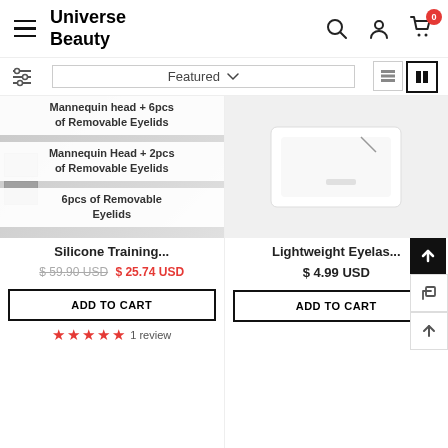Universe Beauty
Featured
Mannequin head + 6pcs of Removable Eyelids
Mannequin Head + 2pcs of Removable Eyelids
6pcs of Removable Eyelids
Silicone Training...
$ 59.90 USD  $ 25.74 USD
ADD TO CART
★★★★★ 1 review
[Figure (photo): White lightweight eyelash product on white background]
Lightweight Eyelas...
$ 4.99 USD
ADD TO CART